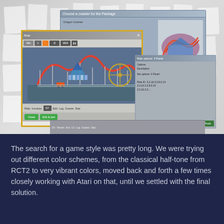[Figure (screenshot): A collage of document thumbnails and game development screenshots scattered across a light grey crumpled paper background, with a prominent roller coaster theme park game UI window in the center showing colorful ride artwork and dialog boxes.]
The search for a game style was pretty long. We were trying out different color schemes, from the classical half-tone from RCT2 to very vibrant colors, moved back and forth a few times closely working with Atari on that, until we settled with the final solution.